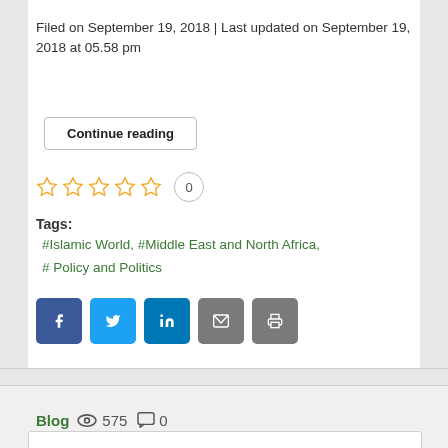Filed on September 19, 2018 | Last updated on September 19, 2018 at 05.58 pm
Continue reading
☆ ☆ ☆ ☆ ☆  0
Tags:
#Islamic World, #Middle East and North Africa, # Policy and Politics
[Figure (infographic): Social sharing buttons: Facebook (blue), Twitter (light blue), LinkedIn (dark blue), Email (grey), Print (grey)]
Blog  575   0